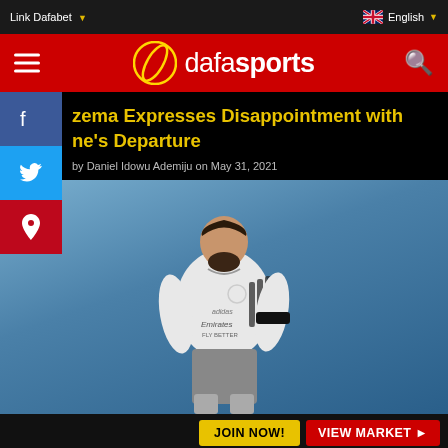Link Dafabet | English
[Figure (logo): Dafasports logo with circular icon on red background header bar]
Benzema Expresses Disappointment with Zidane's Departure
by Daniel Idowu Ademiju on May 31, 2021
[Figure (photo): Karim Benzema wearing a white Real Madrid Emirates Fly Better jersey with head bowed down, blue stadium background]
JOIN NOW! | VIEW MARKET ▶